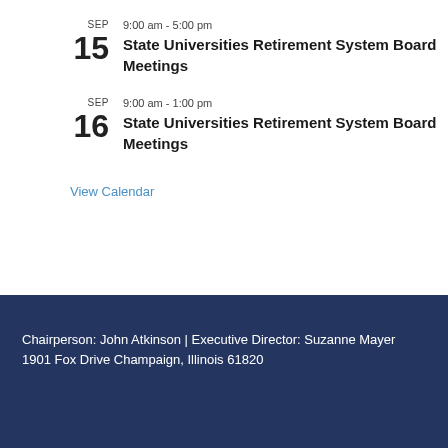SEP 15 | 9:00 am - 5:00 pm | State Universities Retirement System Board Meetings
SEP 16 | 9:00 am - 1:00 pm | State Universities Retirement System Board Meetings
View Calendar
Chairperson: John Atkinson | Executive Director: Suzanne Mayer
1901 Fox Drive Champaign, Illinois 61820